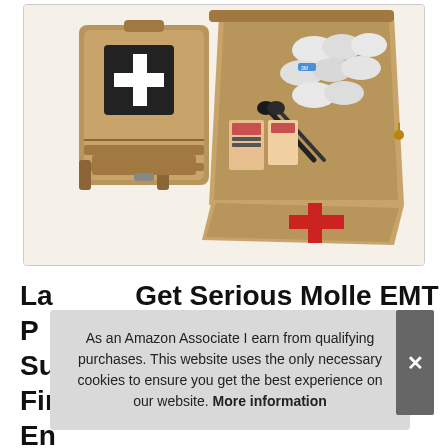[Figure (photo): Product photo showing two tan/coyote brown MOLLE tactical first aid kit pouches — one closed showing a black patch with white cross, one open showing medical supplies including bandages, scissors, and other emergency items]
La... Get Serious Molle EMT Pouch Su... Emergency Medical First Aid Kit En... Red Cross Patch, WINEX Tactical Rip
As an Amazon Associate I earn from qualifying purchases. This website uses the only necessary cookies to ensure you get the best experience on our website. More information